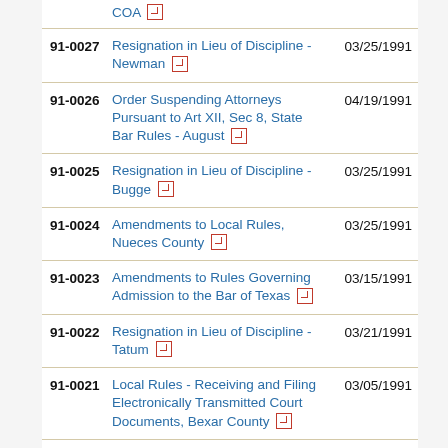COA [pdf icon]
91-0027 | Resignation in Lieu of Discipline - Newman [pdf icon] | 03/25/1991
91-0026 | Order Suspending Attorneys Pursuant to Art XII, Sec 8, State Bar Rules - August [pdf icon] | 04/19/1991
91-0025 | Resignation in Lieu of Discipline - Bugge [pdf icon] | 03/25/1991
91-0024 | Amendments to Local Rules, Nueces County [pdf icon] | 03/25/1991
91-0023 | Amendments to Rules Governing Admission to the Bar of Texas [pdf icon] | 03/15/1991
91-0022 | Resignation in Lieu of Discipline - Tatum [pdf icon] | 03/21/1991
91-0021 | Local Rules - Receiving and Filing Electronically Transmitted Court Documents, Bexar County [pdf icon] | 03/05/1991
91-0020 | Local Rules - Receiving and | 03/05/1991